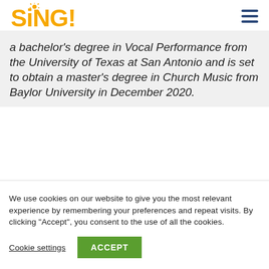SiNG!
a bachelor’s degree in Vocal Performance from the University of Texas at San Antonio and is set to obtain a master’s degree in Church Music from Baylor University in December 2020.
We use cookies on our website to give you the most relevant experience by remembering your preferences and repeat visits. By clicking “Accept”, you consent to the use of all the cookies.
Cookie settings
ACCEPT